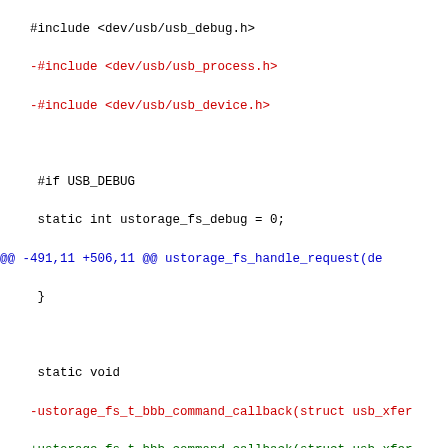Code diff snippet showing USB storage driver changes including ustorage_fs_t_bbb_command_callback refactoring